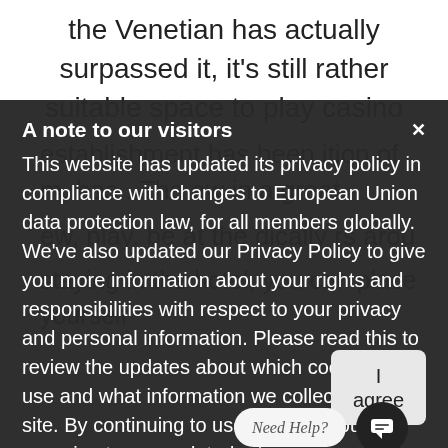the Venetian has actually surpassed it, it's still rather suitable space to play casino
A note to our visitors
This website has updated its privacy policy in compliance with changes to European Union data protection law, for all members globally. We've also updated our Privacy Policy to give you more information about your rights and responsibilities with respect to your privacy and personal information. Please read this to review the updates about which cookies we use and what information we collect on our site. By continuing to use this site, you are agreeing to our updated priv...
I agree
Need Help?
staying in the hotel, you can place yourself